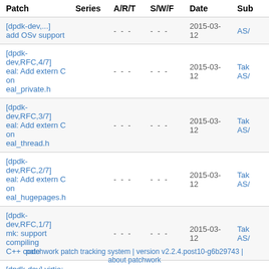| Patch | Series | A/R/T | S/W/F | Date | Sub |
| --- | --- | --- | --- | --- | --- |
| [dpdk-dev,...] add OSv support |  | - - - | - - - | 2015-03-12 | AS/ |
| [dpdk-dev,RFC,4/7] eal: Add extern C on eal_private.h |  | - - - | - - - | 2015-03-12 | Tak AS/ |
| [dpdk-dev,RFC,3/7] eal: Add extern C on eal_thread.h |  | - - - | - - - | 2015-03-12 | Tak AS/ |
| [dpdk-dev,RFC,2/7] eal: Add extern C on eal_hugepages.h |  | - - - | - - - | 2015-03-12 | Tak AS/ |
| [dpdk-dev,RFC,1/7] mk: support compiling C++ code |  | - - - | - - - | 2015-03-12 | Tak AS/ |
| [dpdk-dev] virtio: Add default_txconf |  | - - - | - - - | 2015-02-23 | Tak AS/ |
patchwork patch tracking system | version v2.2.4.post10-g6b29743 | about patchwork